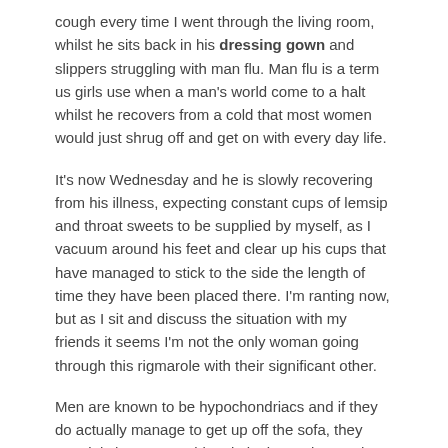cough every time I went through the living room, whilst he sits back in his dressing gown and slippers struggling with man flu. Man flu is a term us girls use when a man's world come to a halt whilst he recovers from a cold that most women would just shrug off and get on with every day life.
It's now Wednesday and he is slowly recovering from his illness, expecting constant cups of lemsip and throat sweets to be supplied by myself, as I vacuum around his feet and clear up his cups that have managed to stick to the side the length of time they have been placed there. I'm ranting now, but as I sit and discuss the situation with my friends it seems I'm not the only woman going through this rigmarole with their significant other.
Men are known to be hypochondriacs and if they do actually manage to get up off the sofa, they certainly have no problem in letting us know what a soldier their being by doing so. This morning I took his dressing gown away, put it in the machine and stated that under no circumstances was he putting it back on until he blew his nose and got over the fact he had a cold. End of discussion.
Good enough for Bond? - 27 January 2010
Bond. James Bond. One of the most suave and sophisticated men out there, although I have to